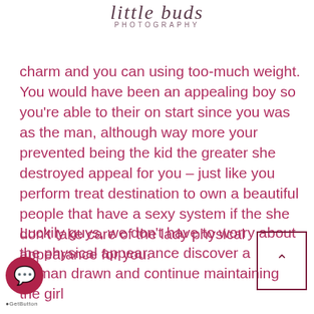little buds PHOTOGRAPHY
charm and you can using too-much weight. You would have been an appealing boy so you're able to their on start since you was as the man, although way more your prevented being the kid the greater she destroyed appeal for you – just like you perform treat destination to own a beautiful people that have a sexy system if the she don't take care of the lady physical appearance for you.
Luckily guys, we don't have to worry about the physical appearance discover a woman drawn and continue maintaining the girl